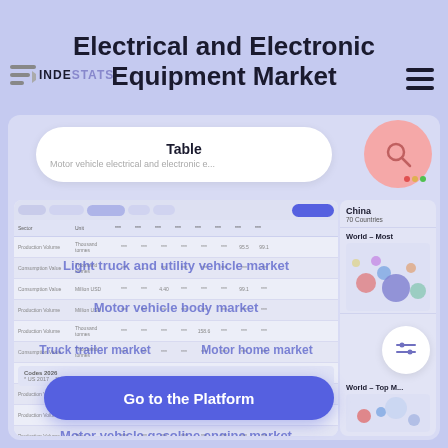Electrical and Electronic Equipment Market
[Figure (screenshot): Screenshot of a data platform interface showing a table of motor vehicle market data with overlaid market category labels, a search bar, sidebar with country data, and a 'Go to the Platform' CTA button.]
Table
Motor vehicle electrical and electronic equipment market
Light truck and utility vehicle market
Motor vehicle body market
Truck trailer market
Motor home market
Travel trailer and camper market
Motor vehicle gasoline engine market
Motor vehicle steering market
Motor vehicle brake system market
Go to the Platform